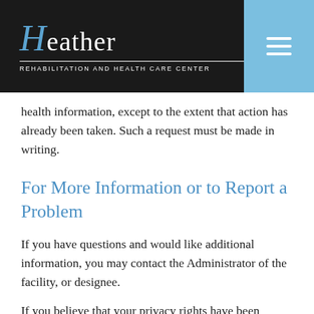Heather REHABILITATION AND HEALTH CARE CENTER
health information, except to the extent that action has already been taken. Such a request must be made in writing.
For More Information or to Report a Problem
If you have questions and would like additional information, you may contact the Administrator of the facility, or designee.
If you believe that your privacy rights have been violated, you may file a complaint with us. These complaints must be filed in writing and when completed should be returned to the Privacy Officer at the following address: 15600 South